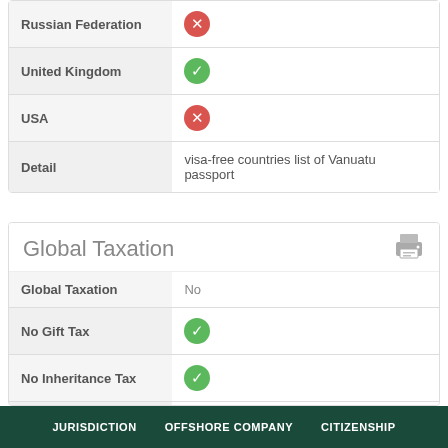| Country | Status |
| --- | --- |
| Russian Federation | ✗ |
| United Kingdom | ✓ |
| USA | ✗ |
| Detail | visa-free countries list of Vanuatu passport |
Global Taxation
| Field | Value |
| --- | --- |
| Global Taxation | No |
| No Gift Tax | ✓ |
| No Inheritance Tax | ✓ |
| No Capital Gain Tax | ✓ |
JURISDICTION   OFFSHORE COMPANY   CITIZENSHIP